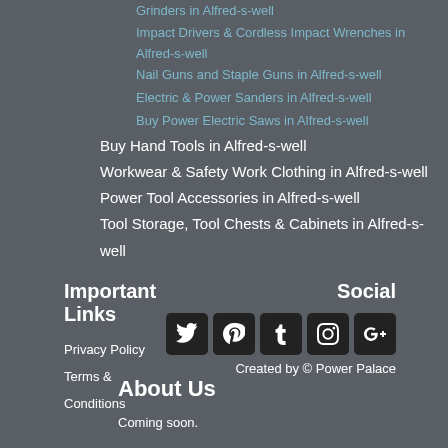Grinders in Alfred-s-well
Impact Drivers & Cordless Impact Wrenches in Alfred-s-well
Nail Guns and Staple Guns in Alfred-s-well
Electric & Power Sanders in Alfred-s-well
Buy Power Electric Saws in Alfred-s-well
Buy Hand Tools in Alfred-s-well
Workwear & Safety Work Clothing in Alfred-s-well
Power Tool Accessories in Alfred-s-well
Tool Storage, Tool Chests & Cabinets in Alfred-s-well
Important Links
Privacy Policy
Terms & Conditions
Social
Created by © Power Palace
About Us
Coming soon.